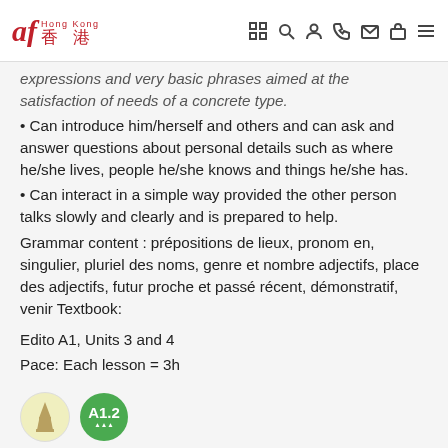af Hong Kong 香港 [navigation icons]
expressions and very basic phrases aimed at the satisfaction of needs of a concrete type.
• Can introduce him/herself and others and can ask and answer questions about personal details such as where he/she lives, people he/she knows and things he/she has.
• Can interact in a simple way provided the other person talks slowly and clearly and is prepared to help.
Grammar content : prépositions de lieux, pronom en, singulier, pluriel des noms, genre et nombre adjectifs, place des adjectifs, futur proche et passé récent, démonstratif, venir Textbook:
Edito A1, Units 3 and 4
Pace: Each lesson = 3h
[Figure (logo): Two circular badges: a pale yellow badge with an Eiffel Tower icon, and a green badge labeled A1.2]